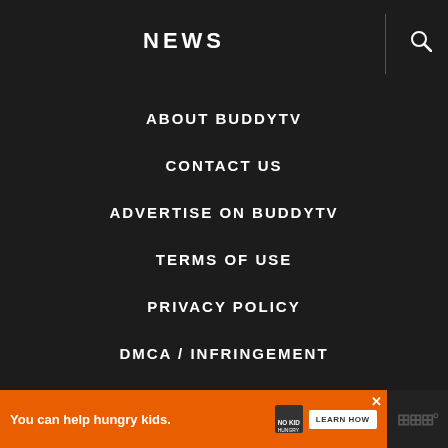NEWS
ABOUT BUDDYTV
CONTACT US
ADVERTISE ON BUDDYTV
TERMS OF USE
PRIVACY POLICY
DMCA / INFRINGEMENT
© 2022 BUDDYTV.  ALL RIGHTS RESERVED.
EXCLUSIVE MEMBER OF MEDIAVINE FOOD
[Figure (screenshot): What's Next panel showing a thumbnail and text 'Everything You Need to...']
[Figure (infographic): Orange advertisement bar: 'You can help hungry kids.' with No Kid Hungry logo and LEARN HOW button]